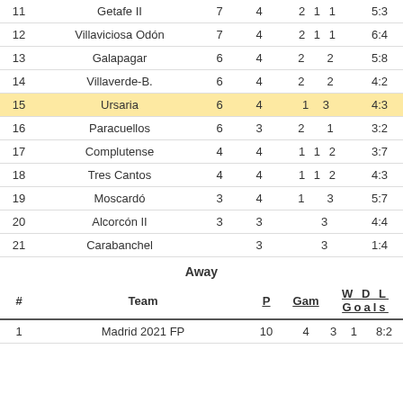| # | Team | P | Gam | W D L Goals |
| --- | --- | --- | --- | --- |
| 11 | Getafe II | 7 | 4 | 2 1 1 | 5:3 |
| 12 | Villaviciosa Odón | 7 | 4 | 2 1 1 | 6:4 |
| 13 | Galapagar | 6 | 4 | 2   2 | 5:8 |
| 14 | Villaverde-B. | 6 | 4 | 2   2 | 4:2 |
| 15 | Ursaria | 6 | 4 | 1 3 | 4:3 |
| 16 | Paracuellos | 6 | 3 | 2   1 | 3:2 |
| 17 | Complutense | 4 | 4 | 1 1 2 | 3:7 |
| 18 | Tres Cantos | 4 | 4 | 1 1 2 | 4:3 |
| 19 | Moscardó | 3 | 4 | 1   3 | 5:7 |
| 20 | Alcorcón II | 3 | 3 |   3 | 4:4 |
| 21 | Carabanchel |  | 3 |   3 | 1:4 |
Away
| # | Team | P | Gam | W D L Goals |
| --- | --- | --- | --- | --- |
| 1 | Madrid 2021 FP | 10 | 4 | 3 1 | 8:2 |